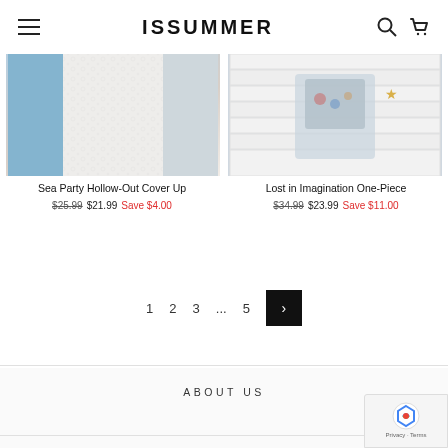ISSUMMER
[Figure (photo): Product photo of Sea Party Hollow-Out Cover Up - white lace/crochet coverup on blue background]
Sea Party Hollow-Out Cover Up
$25.99  $21.99  Save $4.00
[Figure (photo): Product photo of Lost in Imagination One-Piece - floral one-piece swimsuit on white wood background]
Lost in Imagination One-Piece
$34.99  $23.99  Save $11.00
1  2  3  ...  5  >
ABOUT US